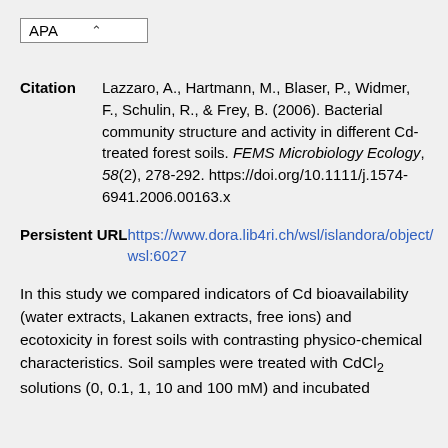APA
Citation: Lazzaro, A., Hartmann, M., Blaser, P., Widmer, F., Schulin, R., & Frey, B. (2006). Bacterial community structure and activity in different Cd-treated forest soils. FEMS Microbiology Ecology, 58(2), 278-292. https://doi.org/10.1111/j.1574-6941.2006.00163.x
Persistent URL: https://www.dora.lib4ri.ch/wsl/islandora/object/wsl:6027
In this study we compared indicators of Cd bioavailability (water extracts, Lakanen extracts, free ions) and ecotoxicity in forest soils with contrasting physico-chemical characteristics. Soil samples were treated with CdCl2 solutions (0, 0.1, 1, 10 and 100 mM) and incubated